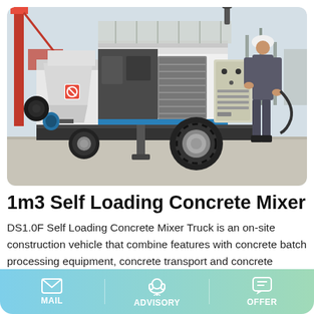[Figure (photo): A white self-loading concrete mixer truck on a job site, with a worker in grey uniform and hard hat operating the control panel on the right side of the machine. The machine has a blue electric connector, black hopper, and is mounted on a trailer with a large tire. A red crane is visible in the background.]
1m3 Self Loading Concrete Mixer
DS1.0F Self Loading Concrete Mixer Truck is an on-site construction vehicle that combine features with concrete batch processing equipment, concrete transport and concrete mixing station. A small concrete station can easily formed by 2 mobile
MAIL   ADVISORY   OFFER